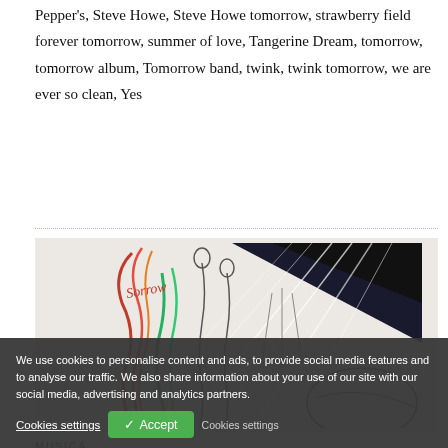Pepper's, Steve Howe, Steve Howe tomorrow, strawberry field forever tomorrow, summer of love, Tangerine Dream, tomorrow, tomorrow album, Tomorrow band, twink, twink tomorrow, we are ever so clean, Yes
[Figure (illustration): Colorful psychedelic illustration with figures, rays of light, and abstract forms. Related to S. F. Sorrow by Pretty Things.]
MUSICA
PRETTY THINGS: S. F. SORROW
tag: a saucerful of secrets, absolutely free, alexis korner, arthur kinks, dynasty dunbar retaination, cand seminale, Beach Boys, beatles, dick taylor, electric banana, emotions album, folk psych, Frank Zappa, graham bond, groundhogs, john alder, john dummer blues band, john povey, manfred ma
We use cookies to personalise content and ads, to provide social media features and to analyse our traffic. We also share information about your use of our site with our social media, advertising and analytics partners.